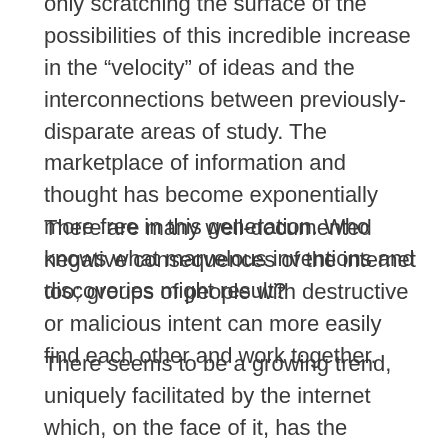only scratching the surface of the possibilities of this incredible increase in the “velocity” of ideas and the interconnections between previously-disparate areas of study. The marketplace of information and thought has become exponentially more free in this generation. Who knows what marvelous inventions and discoveries might result?
There are many well-documented negative consequences of the internet too; groups of people with destructive or malicious intent can more easily find each other and work together.
There seems to be a growing trend, uniquely facilitated by the internet which, on the face of it, has the appearance of being positive and for the good of society but perhaps has regrettable long